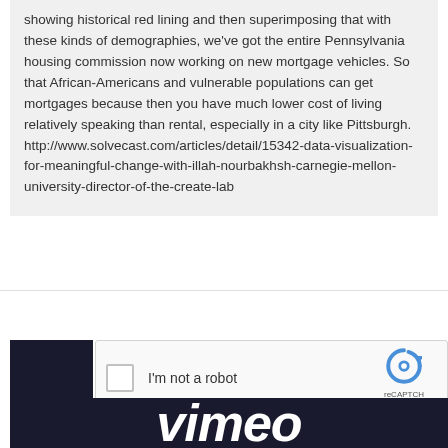showing historical red lining and then superimposing that with these kinds of demographies, we've got the entire Pennsylvania housing commission now working on new mortgage vehicles. So that African-Americans and vulnerable populations can get mortgages because then you have much lower cost of living relatively speaking than rental, especially in a city like Pittsburgh. http://www.solvecast.com/articles/detail/15342-data-visualization-for-meaningful-change-with-illah-nourbakhsh-carnegie-mellon-university-director-of-the-create-lab
[Figure (screenshot): reCAPTCHA widget with checkbox labeled 'I'm not a robot' and reCAPTCHA logo with Privacy and Terms links]
[Figure (logo): Vimeo logo in white italic text on dark navy background]